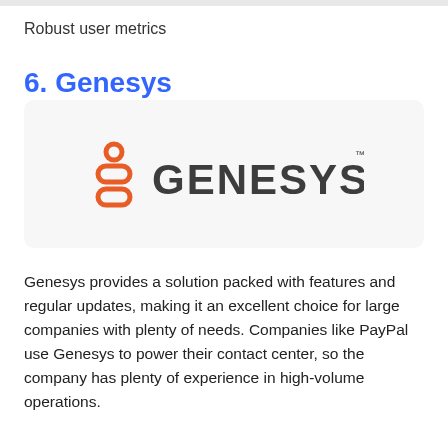Robust user metrics
6. Genesys
[Figure (logo): Genesys logo — orange stacked rounded squares icon on the left, dark grey all-caps GENESYS wordmark with TM on the right, on a light grey rounded rectangle background]
Genesys provides a solution packed with features and regular updates, making it an excellent choice for large companies with plenty of needs. Companies like PayPal use Genesys to power their contact center, so the company has plenty of experience in high-volume operations.